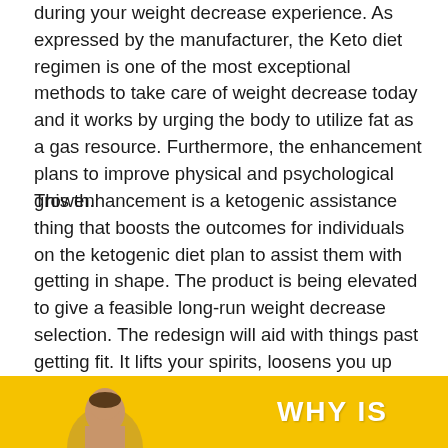during your weight decrease experience. As expressed by the manufacturer, the Keto diet regimen is one of the most exceptional methods to take care of weight decrease today and it works by urging the body to utilize fat as a gas resource. Furthermore, the enhancement plans to improve physical and psychological growth.
This enhancement is a ketogenic assistance thing that boosts the outcomes for individuals on the ketogenic diet plan to assist them with getting in shape. The product is being elevated to give a feasible long-run weight decrease selection. The redesign will aid with things past getting fit. It lifts your spirits, loosens you up emotionally as well as truly, and drops any laziness you could be experiencing. Adaptation is quicker, which maintains you animated, and the starches it stores aid you with caring for quantity.
[Figure (illustration): Yellow banner with person silhouette on left and 'WHY IS' text on right in white bold uppercase letters]